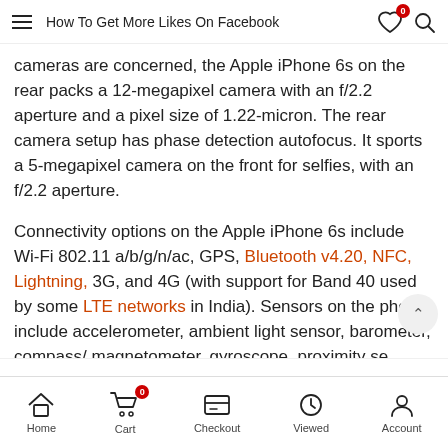How To Get More Likes On Facebook
cameras are concerned, the Apple iPhone 6s on the rear packs a 12-megapixel camera with an f/2.2 aperture and a pixel size of 1.22-micron. The rear camera setup has phase detection autofocus. It sports a 5-megapixel camera on the front for selfies, with an f/2.2 aperture.
Connectivity options on the Apple iPhone 6s include Wi-Fi 802.11 a/b/g/n/ac, GPS, Bluetooth v4.20, NFC, Lightning, 3G, and 4G (with support for Band 40 used by some LTE networks in India). Sensors on the phone include accelerometer, ambient light sensor, barometer, compass/ magnetometer, gyroscope, proximity se and fingerprint sensor.
Home  Cart  Checkout  Viewed  Account